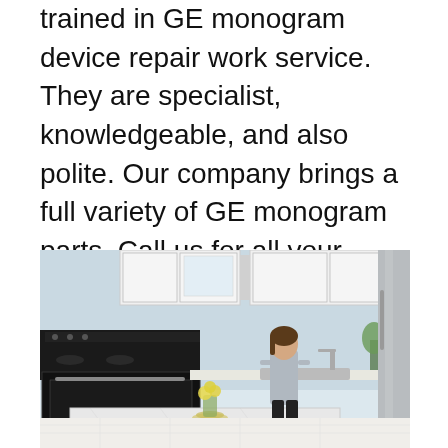trained in GE monogram device repair work service. They are specialist, knowledgeable, and also polite. Our company brings a full variety of GE monogram parts. Call us for all your cooking location device repair requirements. Our office personnel is thoughtful, considerate, as well as on call the phone, all set to help.
[Figure (photo): A woman standing in a modern white kitchen near the sink, with a black electric stove on the left, white cabinets, a marble island with yellow flowers, and a stainless steel refrigerator partially visible on the right edge.]